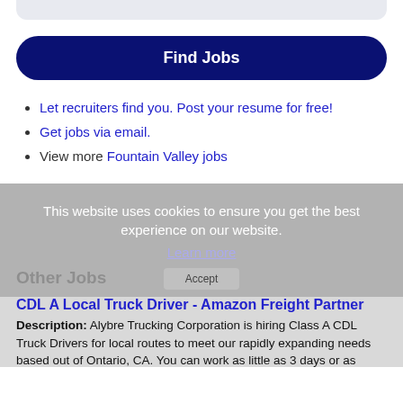[Figure (other): Rounded grey bar at top of page (partial UI element)]
Find Jobs
Let recruiters find you. Post your resume for free!
Get jobs via email.
View more Fountain Valley jobs
This website uses cookies to ensure you get the best experience on our website.
Learn more
Other Jobs
CDL A Local Truck Driver - Amazon Freight Partner
Description: Alybre Trucking Corporation is hiring Class A CDL Truck Drivers for local routes to meet our rapidly expanding needs based out of Ontario, CA. You can work as little as 3 days or as much as 4 days, making (more...)